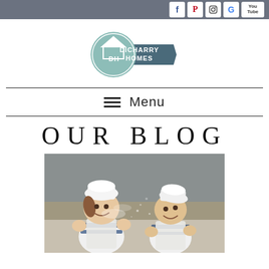Social media icons bar (Facebook, Pinterest, Instagram, Google, YouTube)
[Figure (logo): Dicharry Homes logo: circular mint green badge with DH initials and house icon, with banner reading DICHARRY HOMES]
Menu
OUR BLOG
[Figure (photo): Two young children wearing white chef hats and striped aprons, laughing and clapping with flour dust in the air, in a kitchen setting]